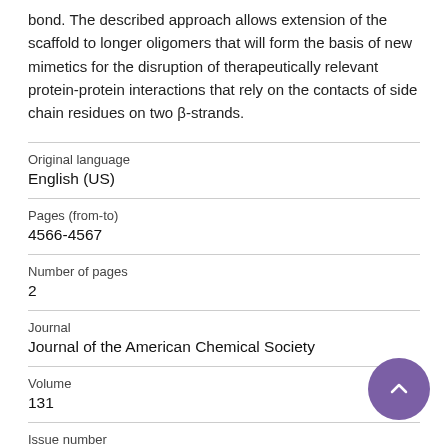bond. The described approach allows extension of the scaffold to longer oligomers that will form the basis of new mimetics for the disruption of therapeutically relevant protein-protein interactions that rely on the contacts of side chain residues on two β-strands.
| Original language | English (US) |
| Pages (from-to) | 4566-4567 |
| Number of pages | 2 |
| Journal | Journal of the American Chemical Society |
| Volume | 131 |
| Issue number |  |